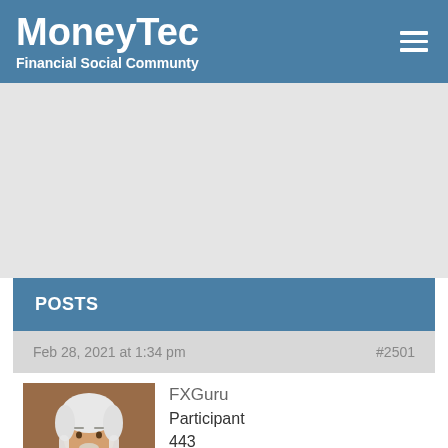MoneyTec Financial Social Communty
[Figure (other): Gray advertisement placeholder area]
POSTS
Feb 28, 2021 at 1:34 pm  #2501
[Figure (illustration): Avatar image of user FXGuru showing a white-haired anime-style character]
FXGuru
Participant
443